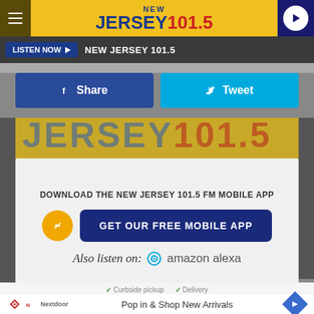NEW JERSEY 101.5
LISTEN NOW ▶  NEW JERSEY 101.5
Share
Tweet
DOWNLOAD THE NEW JERSEY 101.5 FM MOBILE APP
GET OUR FREE MOBILE APP
Also listen on: amazon alexa
✓ Curbside pickup  ✓ Delivery
Pop in & Shop New Arrivals